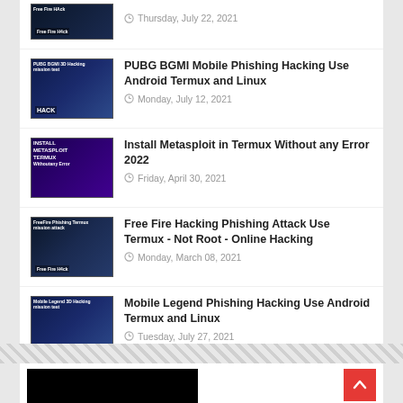[Figure (screenshot): Thumbnail image for a hacking tutorial, partial view at top]
Thursday, July 22, 2021
PUBG BGMI Mobile Phishing Hacking Use Android Termux and Linux
Monday, July 12, 2021
Install Metasploit in Termux Without any Error 2022
Friday, April 30, 2021
Free Fire Hacking Phishing Attack Use Termux - Not Root - Online Hacking
Monday, March 08, 2021
Mobile Legend Phishing Hacking Use Android Termux and Linux
Tuesday, July 27, 2021